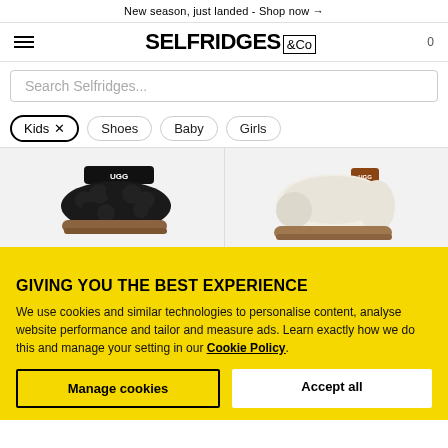New season, just landed - Shop now →
[Figure (logo): Selfridges & Co logo with hamburger menu and cart icon showing 0]
Search Selfridges...
Kids ×
Shoes
Baby
Girls
[Figure (photo): Two UGG kids slippers: black fluffy slide on left, cream/beige clog slipper on right]
GIVING YOU THE BEST EXPERIENCE
We use cookies and similar technologies to personalise content, analyse website performance and tailor and measure ads. Learn exactly how we do this and manage your setting in our Cookie Policy.
Manage cookies
Accept all